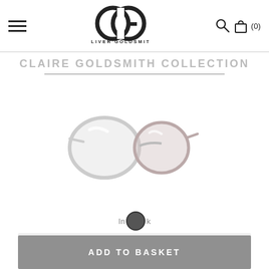[Figure (logo): Oliver Goldsmith OG logo with circular interlocking letters and brand name below]
CLAIRE GOLDSMITH COLLECTION
[Figure (photo): Product image of Oliver Goldsmith sunglasses frames shown at an angle, light-colored frames against white background]
In stock
Choose additional lens colours
ADD TO BASKET